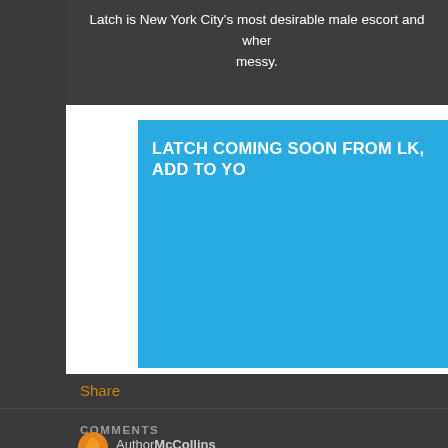Latch is New York City's most desirable male escort and wher... messy.
LATCH COMING SOON FROM LK, ADD TO YO...
Share
COMMENTS
AuthorMcCollins